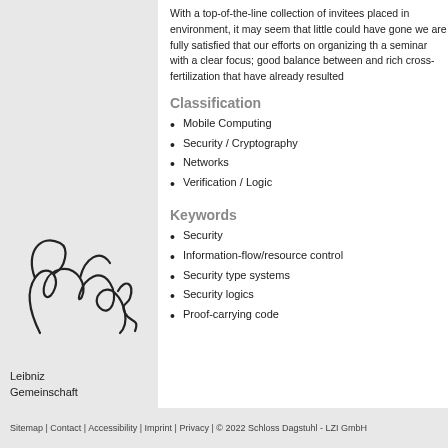With a top-of-the-line collection of invitees placed in ... environment, it may seem that little could have gone ... we are fully satisfied that our efforts on organizing th... a seminar with a clear focus; good balance between ... and rich cross-fertilization that have already resulted...
Classification
Mobile Computing
Security / Cryptography
Networks
Verification / Logic
Keywords
Security
Information-flow/resource control
Security type systems
Security logics
Proof-carrying code
[Figure (logo): Leibniz Gemeinschaft logo with handwritten-style signature]
Sitemap | Contact | Accessibility | Imprint | Privacy | © 2022 Schloss Dagstuhl - LZI GmbH